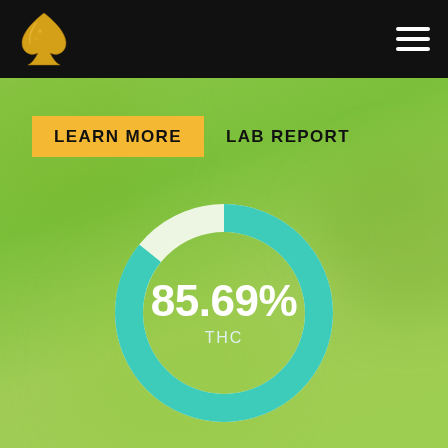Navigation header with logo and hamburger menu
LEARN MORE
LAB REPORT
[Figure (donut-chart): THC Content]